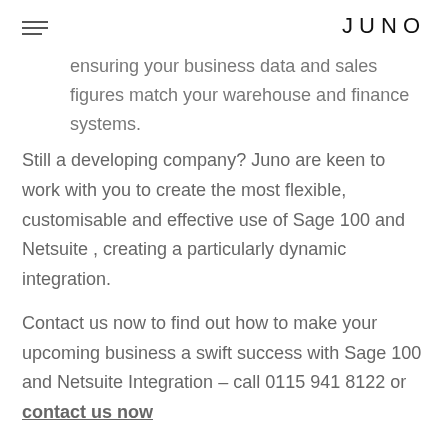JUNO
ensuring your business data and sales figures match your warehouse and finance systems.
Still a developing company? Juno are keen to work with you to create the most flexible, customisable and effective use of Sage 100 and Netsuite , creating a particularly dynamic integration.
Contact us now to find out how to make your upcoming business a swift success with Sage 100 and Netsuite Integration – call 0115 941 8122 or contact us now